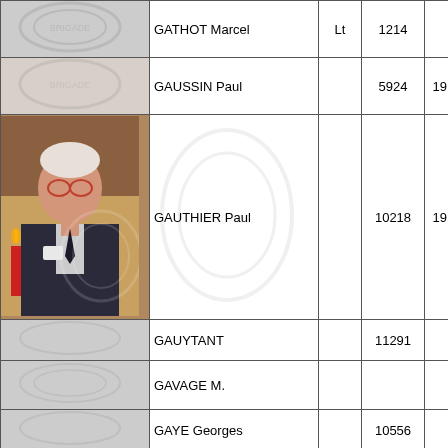| Photo | Name | Rank | Number | Year | Unit |
| --- | --- | --- | --- | --- | --- |
| [photo partial] | GATHOT Marcel | Lt | 1214 |  | Arti Bat Sta... |
|  | GAUSSIN Paul |  | 5924 | 1913 | Brig Trai... |
| [photo Paul] | GAUTHIER Paul |  | 10218 | 1919 | Arti Rgt... |
|  | GAUYTANT |  | 11291 |  | 2 B... |
|  | GAVAGE M. |  |  |  | Aie Bty... |
|  | GAYE Georges |  | 10556 |  | 3 B... |
| [photo Pierre] | GAYE Pierre | Lt | 2392 |  | Arti Bat... |